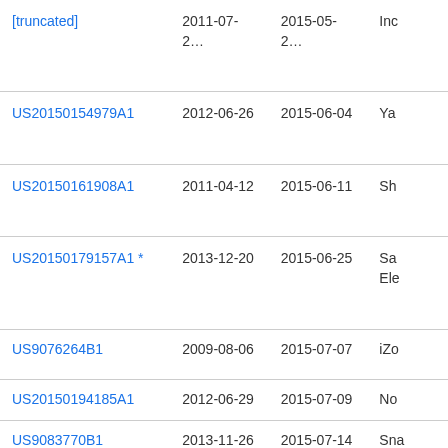| Patent Number | Filing Date | Publication Date | Assignee |
| --- | --- | --- | --- |
| [truncated top] | 2011-07-2[x] | 2015-05-2[x] | Inc[omplete] |
| US20150154979A1 | 2012-06-26 | 2015-06-04 | Ya[hoo] |
| US20150161908A1 | 2011-04-12 | 2015-06-11 | Sh[utter] |
| US20150179157A1 * | 2013-12-20 | 2015-06-25 | Sa[msung] Ele[ctronics] |
| US9076264B1 | 2009-08-06 | 2015-07-07 | iZo[ne] |
| US20150194185A1 | 2012-06-29 | 2015-07-09 | No[kia] |
| US9083770B1 | 2013-11-26 | 2015-07-14 | Sna[p] |